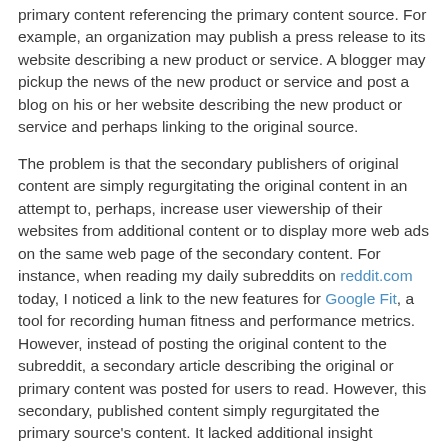primary content referencing the primary content source. For example, an organization may publish a press release to its website describing a new product or service. A blogger may pickup the news of the new product or service and post a blog on his or her website describing the new product or service and perhaps linking to the original source.
The problem is that the secondary publishers of original content are simply regurgitating the original content in an attempt to, perhaps, increase user viewership of their websites from additional content or to display more web ads on the same web page of the secondary content. For instance, when reading my daily subreddits on reddit.com today, I noticed a link to the new features for Google Fit, a tool for recording human fitness and performance metrics. However, instead of posting the original content to the subreddit, a secondary article describing the original or primary content was posted for users to read. However, this secondary, published content simply regurgitated the primary source's content. It lacked additional insight regarding the new features for Google Fit which can be considered online content regurgitation.